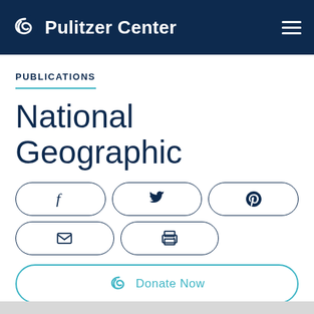Pulitzer Center
PUBLICATIONS
National Geographic
[Figure (logo): Social share buttons: Facebook, Twitter, Pinterest, Email, Print]
[Figure (logo): Donate Now button with Pulitzer Center teal logo]
[Figure (logo): National Geographic logo — yellow rectangle with NATIONAL GEOGRAPHIC text on black background]